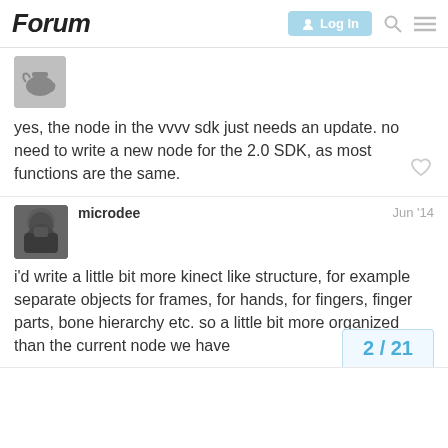Forum
[Figure (photo): User avatar thumbnail (partial, top cropped) - grayscale teapot image]
yes, the node in the vvvv sdk just needs an update. no need to write a new node for the 2.0 SDK, as most functions are the same.
[Figure (photo): User avatar for microdee - dark hooded figure]
microdee
Jun '14
i'd write a little bit more kinect like structure, for example separate objects for frames, for hands, for fingers, finger parts, bone hierarchy etc. so a little bit more organized than the current node we have
2 / 21